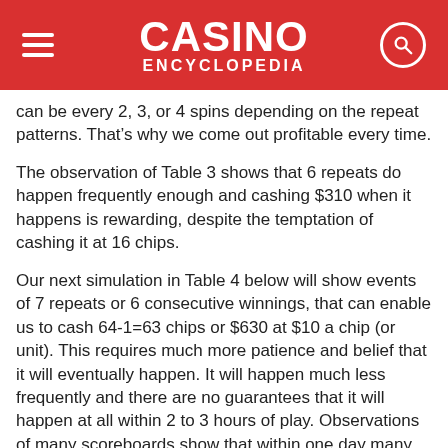CASINO ENCYCLOPEDIA
can be every 2, 3, or 4 spins depending on the repeat patterns. That’s why we come out profitable every time.
The observation of Table 3 shows that 6 repeats do happen frequently enough and cashing $310 when it happens is rewarding, despite the temptation of cashing it at 16 chips.
Our next simulation in Table 4 below will show events of 7 repeats or 6 consecutive winnings, that can enable us to cash 64-1=63 chips or $630 at $10 a chip (or unit). This requires much more patience and belief that it will eventually happen. It will happen much less frequently and there are no guarantees that it will happen at all within 2 to 3 hours of play. Observations of many scoreboards show that within one day many tables hit 7 repeats. The question is, are